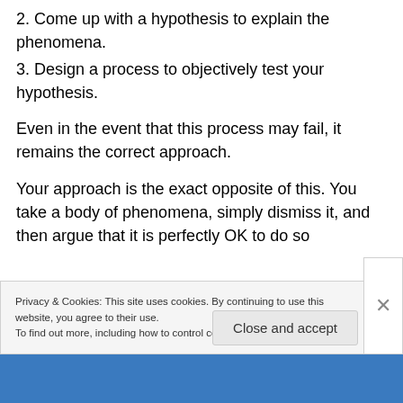2. Come up with a hypothesis to explain the phenomena.
3. Design a process to objectively test your hypothesis.
Even in the event that this process may fail, it remains the correct approach.
Your approach is the exact opposite of this. You take a body of phenomena, simply dismiss it, and then argue that it is perfectly OK to do so
Privacy & Cookies: This site uses cookies. By continuing to use this website, you agree to their use.
To find out more, including how to control cookies, see here: Cookie Policy
Close and accept